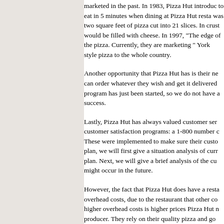marketed in the past. In 1983, Pizza Hut introduc to eat in 5 minutes when dining at Pizza Hut resta was two square feet of pizza cut into 21 slices. In crust would be filled with cheese. In 1997, "The edge of the pizza. Currently, they are marketing " York style pizza to the whole country.
Another opportunity that Pizza Hut has is their ne can order whatever they wish and get it delivered program has just been started, so we do not have a success.
Lastly, Pizza Hut has always valued customer ser customer satisfaction programs: a 1-800 number These were implemented to make sure their custo plan, we will first give a situation analysis of curr plan. Next, we will give a brief analysis of the cu might occur in the future.
However, the fact that Pizza Hut does have a resta overhead costs, due to the restaurant that other co higher overhead costs is higher prices Pizza Hut n producer. They rely on their quality pizza and go
An indirect weakness that Pizza Hut has is that th